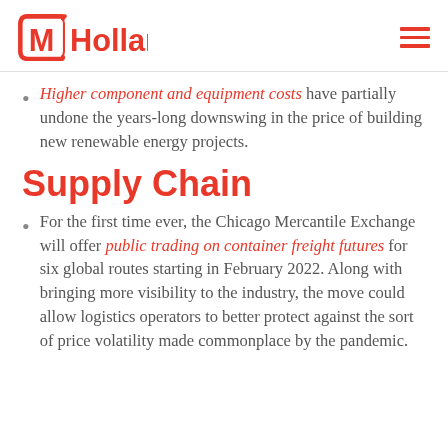MHolland
Higher component and equipment costs have partially undone the years-long downswing in the price of building new renewable energy projects.
Supply Chain
For the first time ever, the Chicago Mercantile Exchange will offer public trading on container freight futures for six global routes starting in February 2022. Along with bringing more visibility to the industry, the move could allow logistics operators to better protect against the sort of price volatility made commonplace by the pandemic.